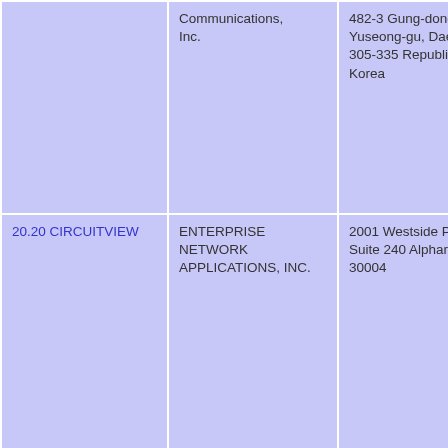|  | Communications, Inc. | 482-3 Gung-dong Yuseong-gu, Daejeon 305-335 Republic of Korea |
| 20.20 CIRCUITVIEW | ENTERPRISE NETWORK APPLICATIONS, INC. | 2001 Westside Parkway, Suite 240 Alpharetta GA 30004 |
| 20.20 CUSTOMERVIEW | Enterprise Network Applications, Inc. | 2001 Westside Parkway Suite 240 Alpharetta GA 30004 |
| 20.20 ESB | Enterprise Network Applications, Inc. | 2001 Westside Parkway Suite 240 Alpharetta GA 30004 |